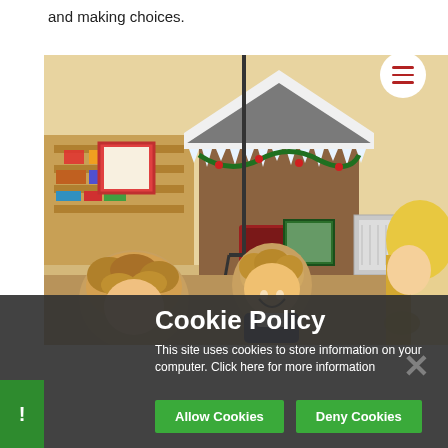and making choices.
[Figure (photo): Children in a classroom with a festive cardboard gingerbread house prop decorated with snow and lights. A child in a wheelchair is visible in the center, smiling. An adult with blonde hair is visible on the right. Various classroom materials are visible in the background.]
Cookie Policy
This site uses cookies to store information on your computer. Click here for more information
Allow Cookies
Deny Cookies